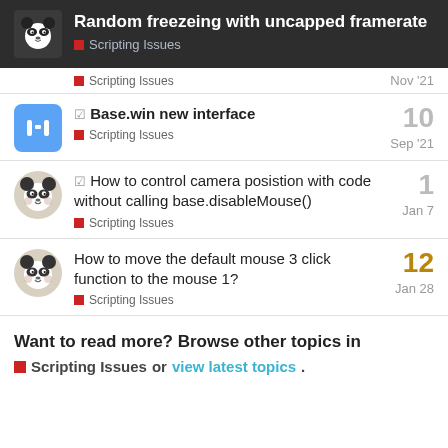Random freezeing with uncapped framerate — Scripting Issues
Scripting Issues — Nov '21
☑ Base.win new interface — Scripting Issues — Sep '21 — 10 replies
☑ How to control camera posistion with code without calling base.disableMouse() — Scripting Issues — Jan 7 — 1 reply
How to move the default mouse 3 click function to the mouse 1? — Scripting Issues — Jan 28 — 12 replies
Want to read more? Browse other topics in Scripting Issues or view latest topics.